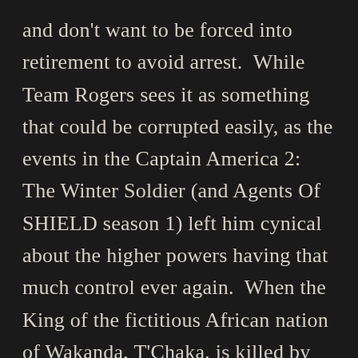and don't want to be forced into retirement to avoid arrest.  While Team Rogers sees it as something that could be corrupted easily, as the events in the Captain America 2: The Winter Soldier (and Agents Of SHIELD season 1) left him cynical about the higher powers having that much control ever again.  When the King of the fictitious African nation of Wakanda, T'Chaka, is killed by an explosion while in Vienna to discuss the bill, and security footage reveals that the bomber was Rogers' friend Bucky Barnes (The Winter Soldier), all hell breaks loose, and both Stark and Rogers start building their own little